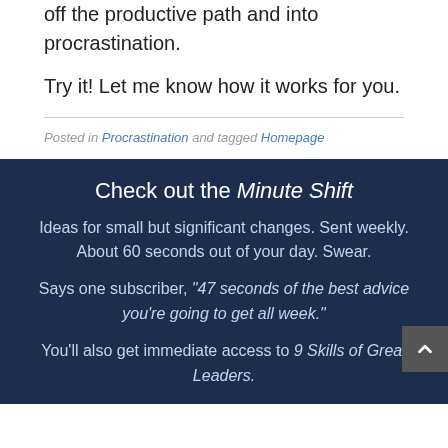off the productive path and into procrastination.
Try it! Let me know how it works for you.
Posted in Procrastination and tagged Homepage
Check out the Minute Shift
Ideas for small but significant changes. Sent weekly. About 60 seconds out of your day. Swear.
Says one subscriber, "47 seconds of the best advice you're going to get all week."
You'll also get immediate access to 9 Skills of Great Leaders.